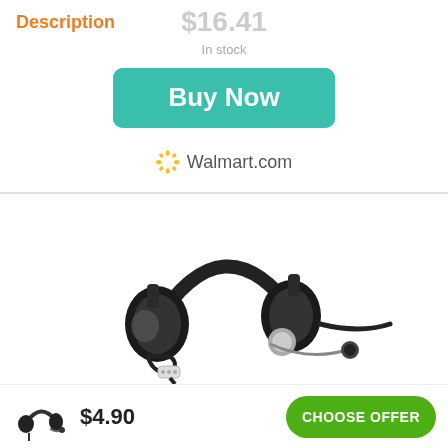Description
$16.41
In stock
[Figure (illustration): Teal/green Buy Now button]
Walmart.com
[Figure (photo): Black over-ear headset with microphone boom, inline controls, and cable]
[Figure (photo): Small thumbnail of a headset]
$4.90
CHOOSE OFFER